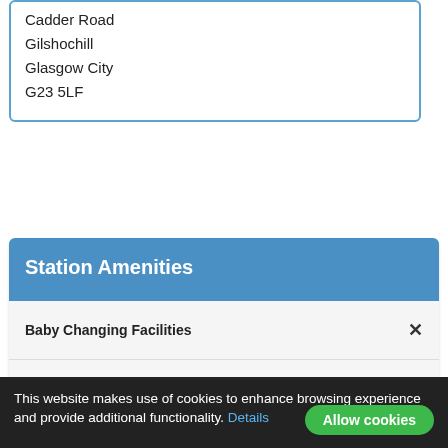Cadder Road
Gilshochill
Glasgow City
G23 5LF
Station Amenities
| Amenity | Available |
| --- | --- |
| Baby Changing Facilities | ✕ |
| Bureau de Change | ✕ |
| Cash Machine (ATM) | ✕ |
| CCTV | ✔ |
| First Class Lounge | ✕ |
This website makes use of cookies to enhance browsing experience and provide additional functionality. Details
Allow cookies